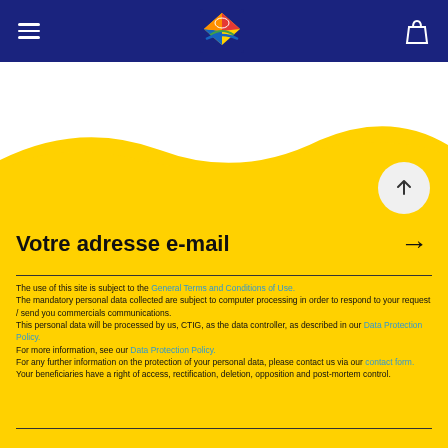Navigation header with logo, hamburger menu, and bag icon
[Figure (illustration): Yellow wave/sand dune background graphic transitioning from white to yellow]
Votre adresse e-mail
The use of this site is subject to the General Terms and Conditions of Use. The mandatory personal data collected are subject to computer processing in order to respond to your request / send you commercials communications. This personal data will be processed by us, CTIG, as the data controller, as described in our Data Protection Policy. For more information, see our Data Protection Policy. For any further information on the protection of your personal data, please contact us via our contact form. Your beneficiaries have a right of access, rectification, deletion, opposition and post-mortem control.